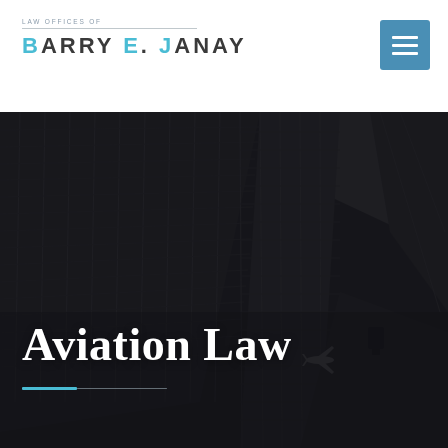LAW OFFICES OF BARRY E. JANAY
[Figure (photo): Dark monochrome aerial/upward view of a building with grid-like windows and structural elements, with a small airplane silhouette visible in the lower center area, heavily darkened with overlay]
Aviation Law